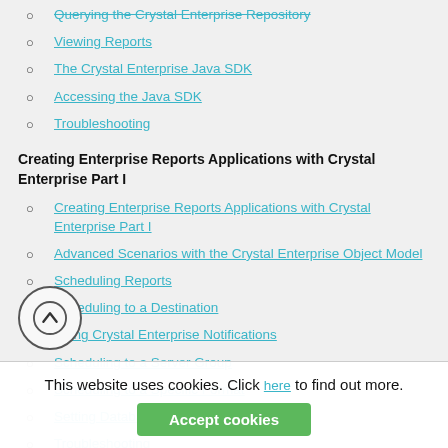Querying the Crystal Enterprise Repository
Viewing Reports
The Crystal Enterprise Java SDK
Accessing the Java SDK
Troubleshooting
Creating Enterprise Reports Applications with Crystal Enterprise Part I
Creating Enterprise Reports Applications with Crystal Enterprise Part I
Advanced Scenarios with the Crystal Enterprise Object Model
Scheduling Reports
Scheduling to a Destination
Using Crystal Enterprise Notifications
Scheduling to a Server Group
Scheduling to a Specific Format
Setting Database Credentials
Troubleshooting
Creating Enterprise Reporting Applications with Crystal Enterprise Part II
Querying the Crystal Enterprise InfoStore
This website uses cookies. Click here to find out more. Accept cookies